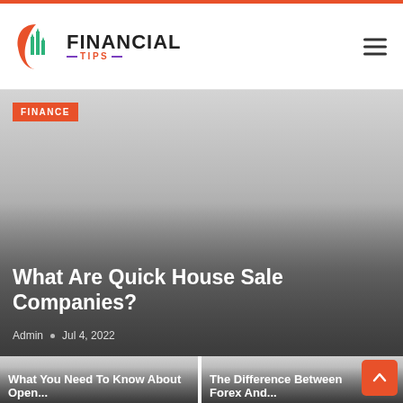Financial Tips — site header with logo and navigation
[Figure (screenshot): Financial Tips website logo with upward arrows icon and brand name]
FINANCE
[Figure (photo): Hero image background with gray gradient for 'What Are Quick House Sale Companies?' article]
What Are Quick House Sale Companies?
Admin • Jul 4, 2022
[Figure (photo): Thumbnail image for 'What You Need To Know About Open...' article card]
What You Need To Know About Open...
[Figure (photo): Thumbnail image for 'The Difference Between Forex And...' article card]
The Difference Between Forex And...